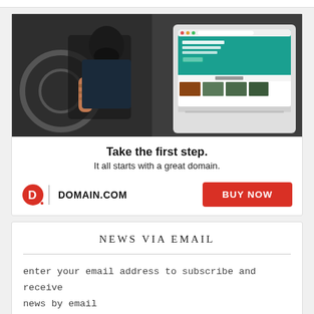[Figure (infographic): Advertisement image showing a man working on a bicycle with tattoos, overlaid with a laptop/tablet showing a domain website. The ad is for domain.com.]
Take the first step.
It all starts with a great domain.
[Figure (logo): Domain.com logo: red circle with D inside, vertical bar separator, then DOMAIN.COM in bold black text]
BUY NOW
NEWS VIA EMAIL
enter your email address to subscribe and receive news by email